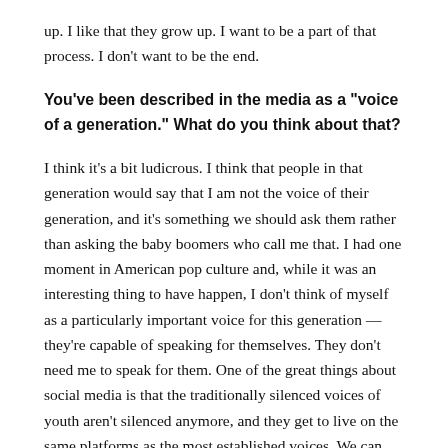up. I like that they grow up. I want to be a part of that process. I don't want to be the end.
You've been described in the media as a "voice of a generation." What do you think about that?
I think it's a bit ludicrous. I think that people in that generation would say that I am not the voice of their generation, and it's something we should ask them rather than asking the baby boomers who call me that. I had one moment in American pop culture and, while it was an interesting thing to have happen, I don't think of myself as a particularly important voice for this generation — they're capable of speaking for themselves. They don't need me to speak for them. One of the great things about social media is that the traditionally silenced voices of youth aren't silenced anymore, and they get to live on the same platforms as the most established voices. We can listen to them directly, and I think we should.